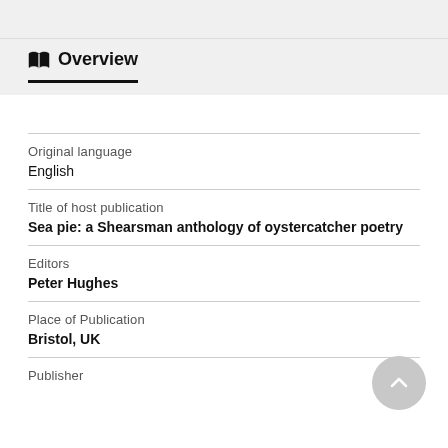Overview
Original language
English
Title of host publication
Sea pie: a Shearsman anthology of oystercatcher poetry
Editors
Peter Hughes
Place of Publication
Bristol, UK
Publisher